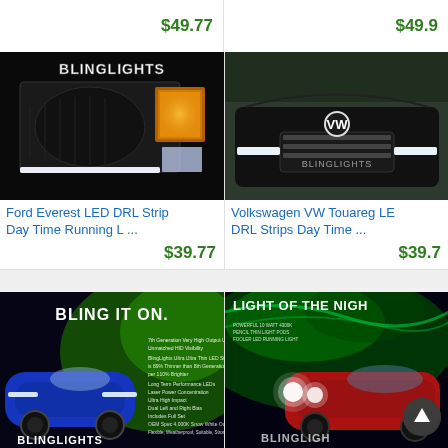$49.77
$49.9...
[Figure (photo): BlingLights branded headlight product photo showing a car headlight assembly with amber and white LED strips, with BlingLights logo overlay]
Ford Everest LED DRL Strip Day Time Running L ...
$39.77
[Figure (photo): Volkswagen VW Touareg front view showing white LED DRL strips mounted below headlights, with BlingLights watermark]
Volkswagen VW Touareg LE DRL Strips Day Time ...
$39.7...
[Figure (photo): BlingLights Bling It On promotional image showing blue Nissan Juke with LED DRL strips, green background with product feature text]
[Figure (photo): BlingLights Light of the Night promotional image showing red Nissan with bright LED lights and aurora borealis background]